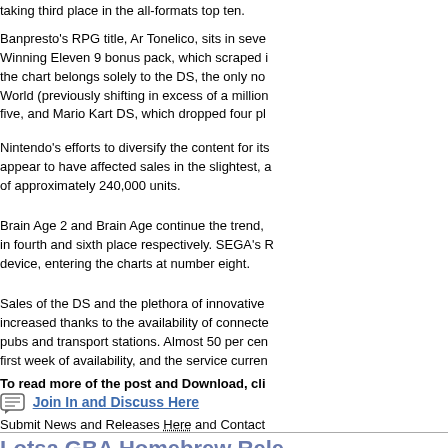taking third place in the all-formats top ten.
Banpresto's RPG title, Ar Tonelico, sits in seven... Winning Eleven 9 bonus pack, which scraped i... the chart belongs solely to the DS, the only no... World (previously shifting in excess of a million... five, and Mario Kart DS, which dropped four pl...
Nintendo's efforts to diversify the content for its... appear to have affected sales in the slightest, a... of approximately 240,000 units.
Brain Age 2 and Brain Age continue the trend,... in fourth and sixth place respectively. SEGA's R... device, entering the charts at number eight.
Sales of the DS and the plethora of innovative... increased thanks to the availability of connecte... pubs and transport stations. Almost 50 per cen... first week of availability, and the service curren...
To read more of the post and Download, cli...
Join In and Discuss Here
Submit News and Releases Here and Contact...
Lotsa GBA Homebrew Rele...